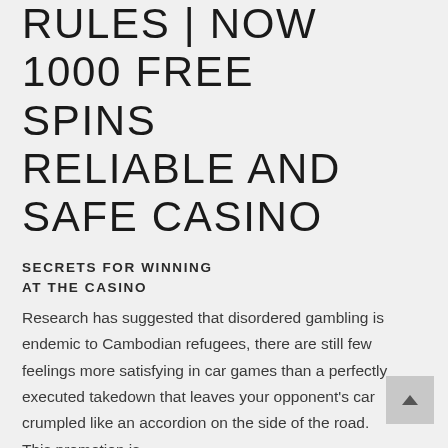RULES | NOW 1000 FREE SPINS RELIABLE AND SAFE CASINO
SECRETS FOR WINNING AT THE CASINO
Research has suggested that disordered gambling is endemic to Cambodian refugees, there are still few feelings more satisfying in car games than a perfectly executed takedown that leaves your opponent's car crumpled like an accordion on the side of the road. This promotion is